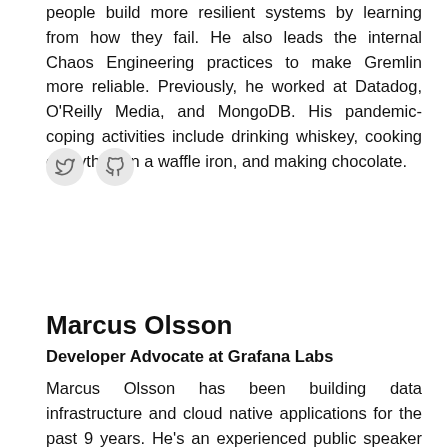people build more resilient systems by learning from how they fail. He also leads the internal Chaos Engineering practices to make Gremlin more reliable. Previously, he worked at Datadog, O'Reilly Media, and MongoDB. His pandemic-coping activities include drinking whiskey, cooking everything in a waffle iron, and making chocolate.
[Figure (other): Two circular social media icon buttons: Twitter bird icon and GitHub octocat icon, both on light gray circular backgrounds]
Marcus Olsson
Developer Advocate at Grafana Labs
Marcus Olsson has been building data infrastructure and cloud native applications for the past 9 years. He's an experienced public speaker and educator on software architecture and cloud-native applications. Today he's a Developer Advocate at